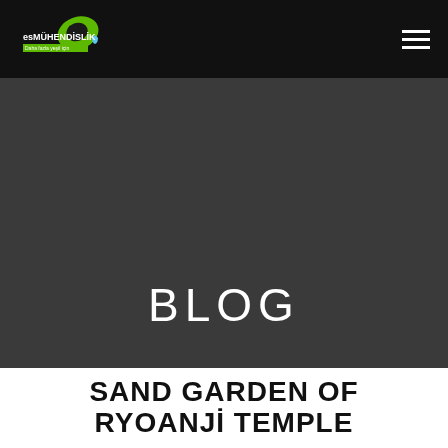[Figure (logo): esMÜHENDİSLİK logo with green leaf and water drop, tagline 'Daha fazla yeşil için']
BLOG
SAND GARDEN OF RYOANJİ TEMPLE